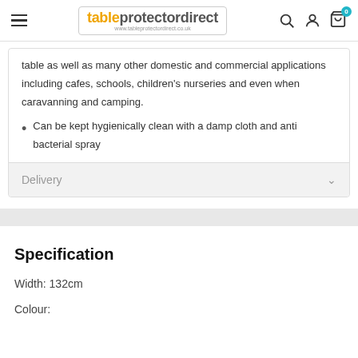tableprotectordirect — navigation header with search, account, and cart icons
table as well as many other domestic and commercial applications including cafes, schools, children's nurseries and even when caravanning and camping.
Can be kept hygienically clean with a damp cloth and anti bacterial spray
Delivery
Specification
Width: 132cm
Colour: